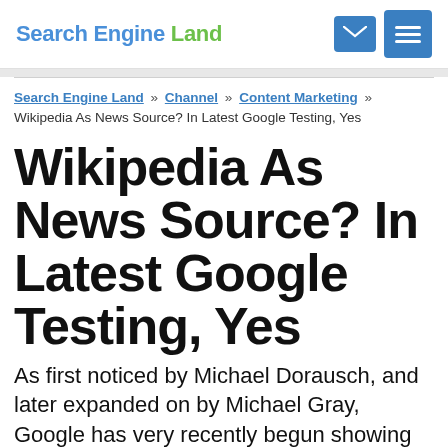Search Engine Land
Search Engine Land » Channel » Content Marketing » Wikipedia As News Source? In Latest Google Testing, Yes
Wikipedia As News Source? In Latest Google Testing, Yes
As first noticed by Michael Dorausch, and later expanded on by Michael Gray, Google has very recently begun showing